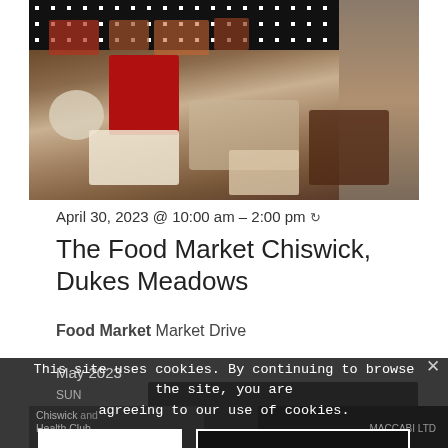[Figure (photo): Photo of a food market stall with various food items on a table covered with a black and white polka dot tablecloth. Jars, cakes, breads and other food products visible.]
April 30, 2023 @ 10:00 am - 2:00 pm ↻
The Food Market Chiswick, Dukes Meadows
Food Market Market Drive
May 2023
This site uses cookies. By continuing to browse the site, you are agreeing to our use of cookies.
OK
Learn more